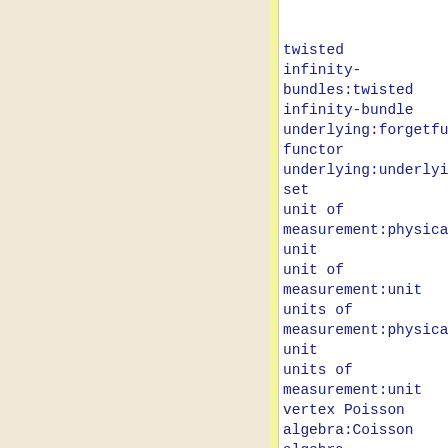twisted infinity-bundles:twisted infinity-bundle
underlying:forgetful functor
underlying:underlying set
unit of measurement:physical unit
unit of measurement:unit
units of measurement:physical unit
units of measurement:unit
vertex Poisson algebra:Coisson algebra
vertex Poisson algebra:Poisson vertex algebra
weak